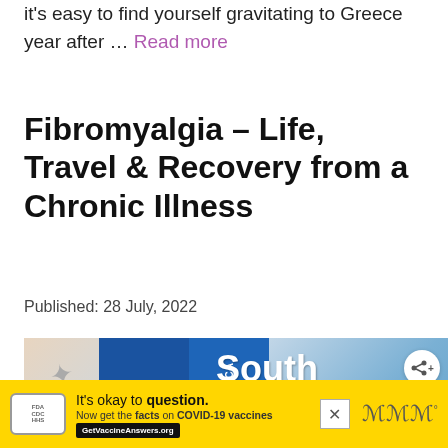it's easy to find yourself gravitating to Greece year after … Read more
Fibromyalgia – Life, Travel & Recovery from a Chronic Illness
Published: 28 July, 2022
[Figure (photo): Travel books about South America with a jewelry charm on the left and a San Francisco postcard visible. A 'What's Next' overlay shows a thumbnail with text 'Where is the Best Chicag...' and a share button.]
It's okay to question. Now get the facts on COVID-19 vaccines GetVaccineAnswers.org